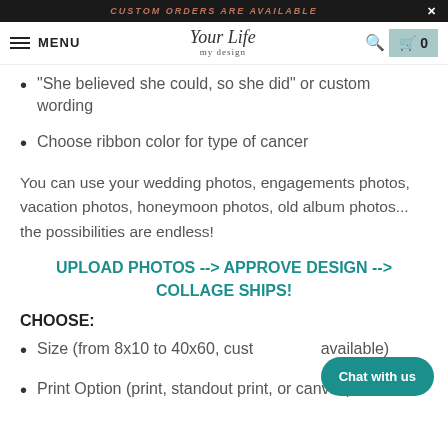CUSTOM ORDERS ARE AVAILABLE
MENU | Your Life my design | search | cart 0
"She believed she could, so she did" or custom wording
Choose ribbon color for type of cancer
You can use your wedding photos, engagements photos, vacation photos, honeymoon photos, old album photos... the possibilities are endless!
UPLOAD PHOTOS ---> APPROVE DESIGN ---> COLLAGE SHIPS!
CHOOSE:
Size (from 8x10 to 40x60, custom sizes available)
Print Option (print, standout print, or canvas)